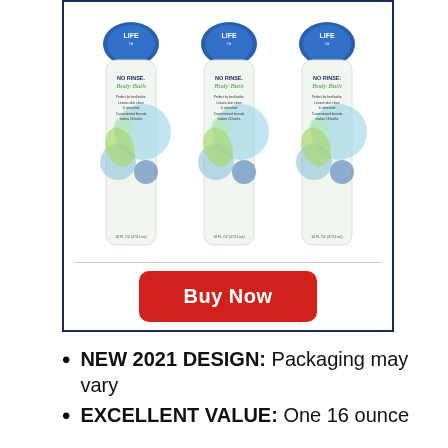[Figure (photo): Three bottles of Cleanlife No Rinse Body Bath (16 FL OZ / 473.1ml each) with blue circular logo on top and decorative bubble/leaf design on label, displayed side by side]
Buy Now
NEW 2021 DESIGN: Packaging may vary
EXCELLENT VALUE: One 16 ounce